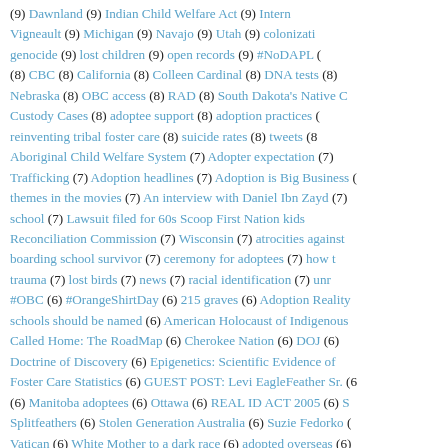(9) Dawnland (9) Indian Child Welfare Act (9) Intern... Vigneault (9) Michigan (9) Navajo (9) Utah (9) colonizati... genocide (9) lost children (9) open records (9) #NoDAPL (... (8) CBC (8) California (8) Colleen Cardinal (8) DNA tests (8)... Nebraska (8) OBC access (8) RAD (8) South Dakota's Native C... Custody Cases (8) adoptee support (8) adoption practices (... reinventing tribal foster care (8) suicide rates (8) tweets (8... Aboriginal Child Welfare System (7) Adopter expectation (7)... Trafficking (7) Adoption headlines (7) Adoption is Big Business (... themes in the movies (7) An interview with Daniel Ibn Zayd (7)... school (7) Lawsuit filed for 60s Scoop First Nation kids... Reconciliation Commission (7) Wisconsin (7) atrocities against... boarding school survivor (7) ceremony for adoptees (7) how t... trauma (7) lost birds (7) news (7) racial identification (7) unr... #OBC (6) #OrangeShirtDay (6) 215 graves (6) Adoption Reality... schools should be named (6) American Holocaust of Indigenous... Called Home: The RoadMap (6) Cherokee Nation (6) DOJ (6)... Doctrine of Discovery (6) Epigenetics: Scientific Evidence of... Foster Care Statistics (6) GUEST POST: Levi EagleFeather Sr. (6... (6) Manitoba adoptees (6) Ottawa (6) REAL ID ACT 2005 (6) S... Splitfeathers (6) Stolen Generation Australia (6) Suzie Fedorko (... Vatican (6) White Mother to a dark race (6) adopted overseas (6)... history (6) extreme poverty (6) form of genocide (6) npr (... #HonorNativeLand (5) #MMIWG2S (5) #validvoices (5) 60s Sc... Scoop Nakuset's Story (5) A Generation Removed (5) Adopt In...